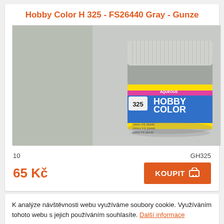Hobby Color H 325 - FS26440 Gray - Gunze
[Figure (photo): Product photo of Gunze Aqueous Hobby Color H 325 FS26440 Gray paint jar, shown next to a gray color swatch]
10   GH325
65 Kč
KOUPIT
K analýze návštěvnosti webu využíváme soubory cookie. Využíváním tohoto webu s jejich používáním souhlasíte. Další informace
Rozumím!